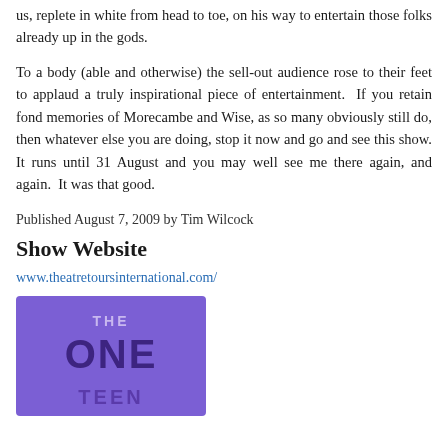us, replete in white from head to toe, on his way to entertain those folks already up in the gods.
To a body (able and otherwise) the sell-out audience rose to their feet to applaud a truly inspirational piece of entertainment. If you retain fond memories of Morecambe and Wise, as so many obviously still do, then whatever else you are doing, stop it now and go and see this show. It runs until 31 August and you may well see me there again, and again. It was that good.
Published August 7, 2009 by Tim Wilcock
Show Website
www.theatretoursinternational.com/
[Figure (illustration): A purple/violet promotional image for a show titled 'The One' with text 'TEEN' partially visible at the bottom.]